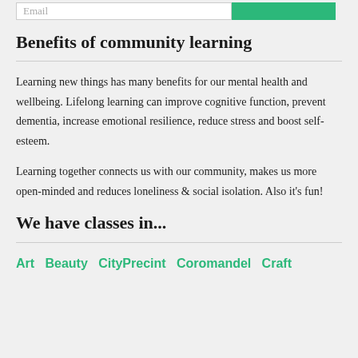Benefits of community learning
Learning new things has many benefits for our mental health and wellbeing. Lifelong learning can improve cognitive function, prevent dementia, increase emotional resilience, reduce stress and boost self-esteem.
Learning together connects us with our community, makes us more open-minded and reduces loneliness & social isolation. Also it's fun!
We have classes in...
Art  Beauty  CityPrecint  Coromandel  Craft